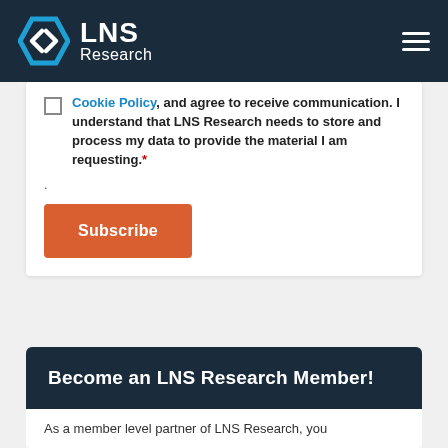LNS Research
Cookie Policy, and agree to receive communication. I understand that LNS Research needs to store and process my data to provide the material I am requesting.*
.
Subscribe
Become an LNS Research Member!
As a member level partner of LNS Research, you